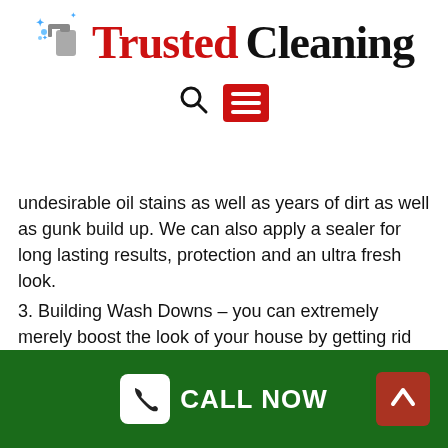[Figure (logo): Trusted Cleaning logo with spray bottle icon, 'Trusted' in red bold serif and 'Cleaning' in black bold serif]
[Figure (other): Navigation bar with search icon (magnifying glass) and red hamburger menu button]
undesirable oil stains as well as years of dirt as well as gunk build up. We can also apply a sealer for long lasting results, protection and an ultra fresh look.
3. Building Wash Downs – you can extremely merely boost the look of your house by getting rid of undesirable dirt, mould, mold and also stains. Regular cleaning will also protect as well as maximise your paintwork.
4. Tile Pressure Cleaning– we can in fact extract years of dust, grime, mould, as well as contaminants from your roofing system tiles bring it back to its previous
[Figure (other): Green footer bar with white phone icon button and CALL NOW text, and a dark red back-to-top arrow button on the right]